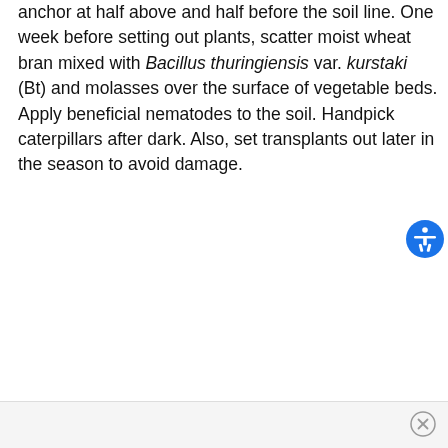anchor at half above and half before the soil line. One week before setting out plants, scatter moist wheat bran mixed with Bacillus thuringiensis var. kurstaki (Bt) and molasses over the surface of vegetable beds. Apply beneficial nematodes to the soil. Handpick caterpillars after dark. Also, set transplants out later in the season to avoid damage.
[Figure (other): Accessibility icon button — blue circle with white universal access figure (person with arms outstretched)]
[Figure (other): Footer bar with a close (X) button circle on the right side]